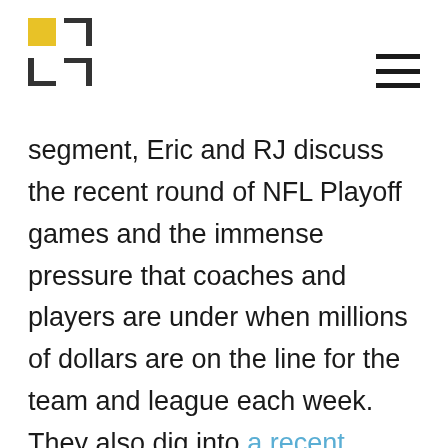[Logo] [Hamburger menu]
segment, Eric and RJ discuss the recent round of NFL Playoff games and the immense pressure that coaches and players are under when millions of dollars are on the line for the team and league each week. They also dig into a recent James Pethokoukis post on a new study that severely undercuts the validity of President Obama's “income inequality” mantra. Make sure to follow Eric on Twitter